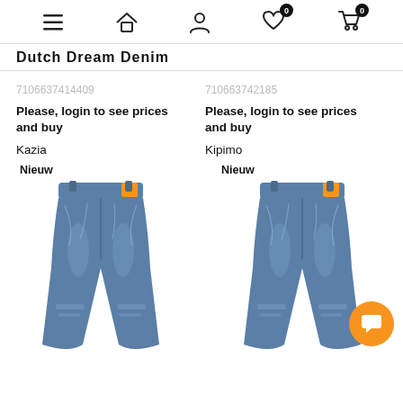Navigation bar with menu, home, user, wishlist (0), cart (0) icons
Dutch Dream Denim
7106637414409
Please, login to see prices and buy
Kazia
710663742185
Please, login to see prices and buy
Kipimo
[Figure (photo): Back view of blue denim jeans with orange label, distressed details, labeled Nieuw]
[Figure (photo): Back view of blue denim jeans with orange label, distressed details, labeled Nieuw]